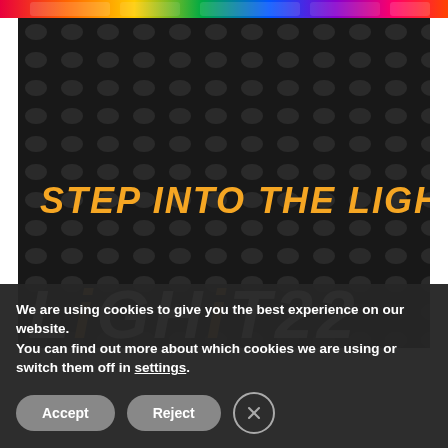[Figure (photo): Dark perforated/mesh panel with orange italic text 'STEP INTO THE LIGHT' and partial 'LiGHiT22' logo text at bottom]
We are using cookies to give you the best experience on our website.
You can find out more about which cookies we are using or switch them off in settings.
Accept   Reject   X